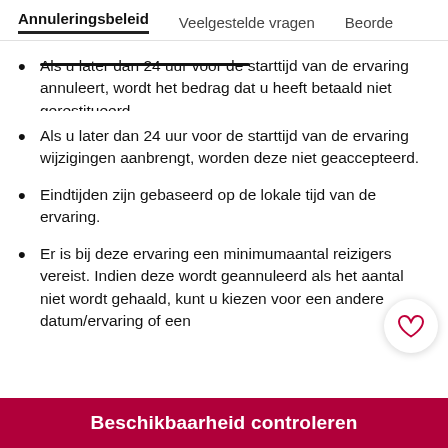Annuleringsbeleid  Veelgestelde vragen  Beoordelingen
Als u later dan 24 uur voor de starttijd van de ervaring annuleert, wordt het bedrag dat u heeft betaald niet gerestitueerd.
Als u later dan 24 uur voor de starttijd van de ervaring wijzigingen aanbrengt, worden deze niet geaccepteerd.
Eindtijden zijn gebaseerd op de lokale tijd van de ervaring.
Er is bij deze ervaring een minimumaantal reizigers vereist. Indien deze wordt geannuleerd als het aantal niet wordt gehaald, kunt u kiezen voor een andere datum/ervaring of een
Beschikbaarheid controleren